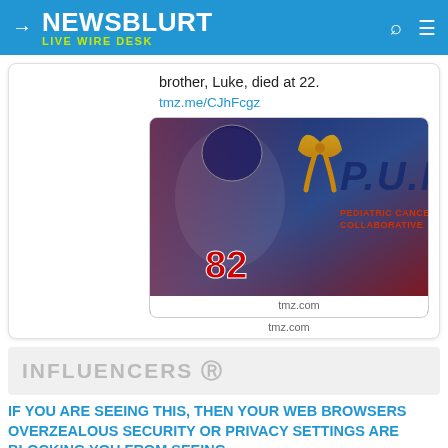NEWSBLURT LIVE WIRE DESK
brother, Luke, died at 22.
tmz.me/CJhFcgz
[Figure (photo): Football player wearing Ole Miss jersey number 82 in white uniform, with P.U.N.T. Pediatric Cancer Collaborative logo and gold ribbon overlay]
tmz.com
INFLUENCERS ©
IF YOU ARE SEEING THIS, THEN YOUR WEB BROWSERS OVERZEALOUS SECURITY OR PRIVACY SETTINGS ARE BLOCKING YOU FROM SEEING